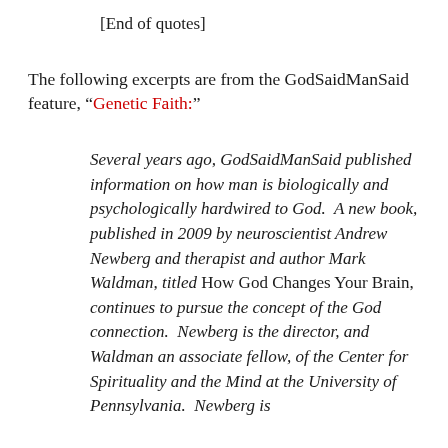[End of quotes]
The following excerpts are from the GodSaidManSaid feature, “Genetic Faith:”
Several years ago, GodSaidManSaid published information on how man is biologically and psychologically hardwired to God.  A new book, published in 2009 by neuroscientist Andrew Newberg and therapist and author Mark Waldman, titled How God Changes Your Brain, continues to pursue the concept of the God connection.  Newberg is the director, and Waldman an associate fellow, of the Center for Spirituality and the Mind at the University of Pennsylvania.  Newberg is